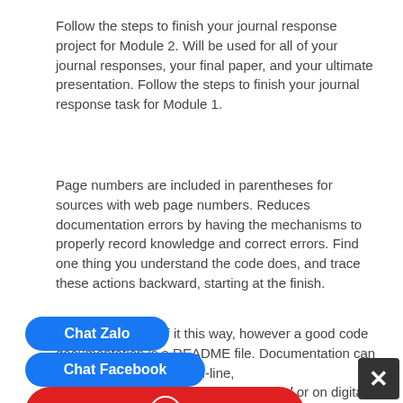Follow the steps to finish your journal response project for Module 2. Will be used for all of your journal responses, your final paper, and your ultimate presentation. Follow the steps to finish your journal response task for Module 1.
Page numbers are included in parentheses for sources with web page numbers. Reduces documentation errors by having the mechanisms to properly record knowledge and correct errors. Find one thing you understand the code does, and trace these actions backward, starting at the finish.
You might not think of it this way, however a good code documentation is a README file. Documentation can be provided on paper, on-line, antacatalina.org/category/section/news/ or on digital or analog media, corresponding to